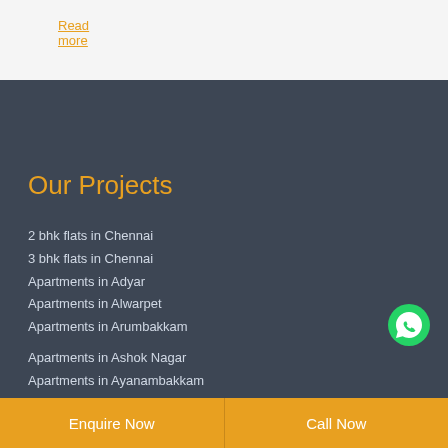Read more
Our Projects
2 bhk flats in Chennai
3 bhk flats in Chennai
Apartments in Adyar
Apartments in Alwarpet
Apartments in Arumbakkam
Apartments in Ashok Nagar
Apartments in Ayanambakkam
Apartments in Bangalore
Apartments in Bannerghatta Road
Apartments in Chennai
[Figure (illustration): WhatsApp call button icon - green circle with phone handset]
Enquire Now | Call Now